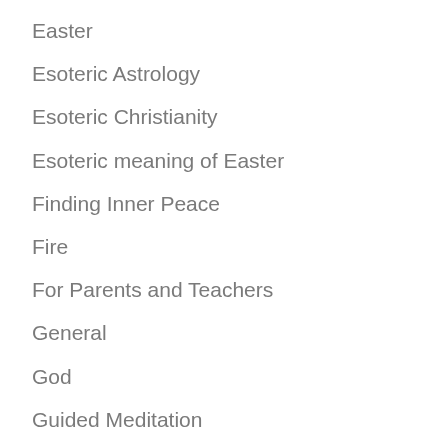Easter
Esoteric Astrology
Esoteric Christianity
Esoteric meaning of Easter
Finding Inner Peace
Fire
For Parents and Teachers
General
God
Guided Meditation